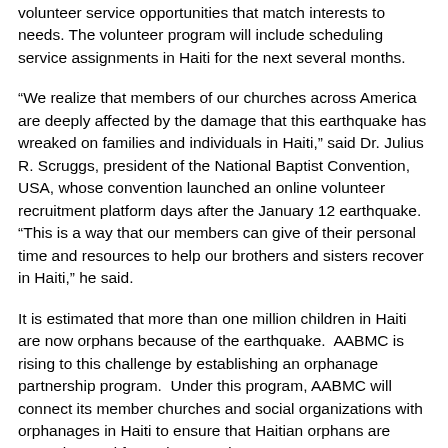volunteer service opportunities that match interests to needs. The volunteer program will include scheduling service assignments in Haiti for the next several months.
“We realize that members of our churches across America are deeply affected by the damage that this earthquake has wreaked on families and individuals in Haiti,” said Dr. Julius R. Scruggs, president of the National Baptist Convention, USA, whose convention launched an online volunteer recruitment platform days after the January 12 earthquake.  “This is a way that our members can give of their personal time and resources to help our brothers and sisters recover in Haiti,” he said.
It is estimated that more than one million children in Haiti are now orphans because of the earthquake.  AABMC is rising to this challenge by establishing an orphanage partnership program.  Under this program, AABMC will connect its member churches and social organizations with orphanages in Haiti to ensure that Haitian orphans are properly cared for and nurtured.
“African-American Baptists know what it means to support one another through devastation,” said Dr. David Emmanuel